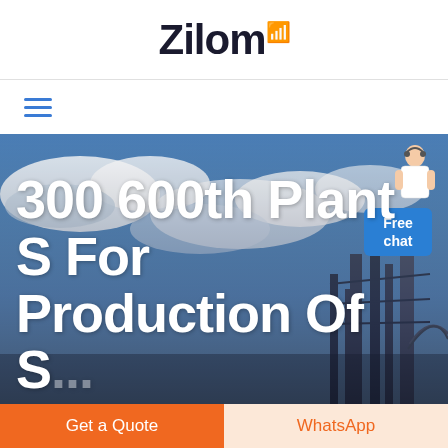Zilom
[Figure (illustration): Hamburger menu icon with three horizontal blue lines]
[Figure (photo): Hero background photo of industrial equipment/ship under a blue cloudy sky, with white large bold text overlay reading '300 600th Plant S For Production Of S...' and a 'Free chat' widget in the top-right corner showing a customer service representative figure above a blue rounded box.]
Get a Quote
WhatsApp